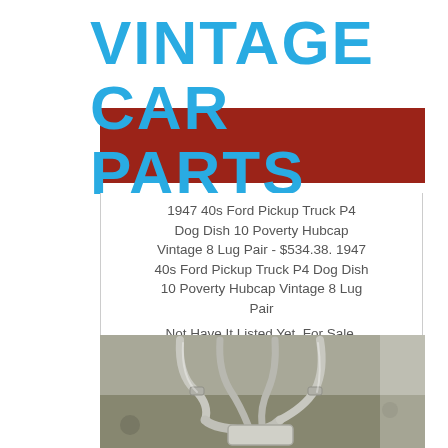VINTAGE CAR PARTS
[Figure (photo): Red background panel behind title text]
1947 40s Ford Pickup Truck P4 Dog Dish 10 Poverty Hubcap Vintage 8 Lug Pair - $534.38. 1947 40s Ford Pickup Truck P4 Dog Dish 10 Poverty Hubcap Vintage 8 Lug Pair
Not Have It Listed Yet. For Sale,
[Figure (photo): Photo of vintage car exhaust pipes and muffler on a concrete surface]